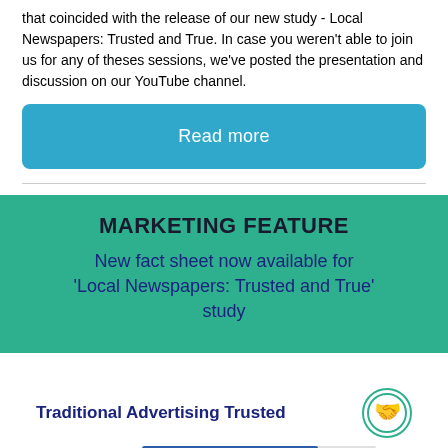that coincided with the release of our new study - Local Newspapers: Trusted and True. In case you weren't able to join us for any of theses sessions, we've posted the presentation and discussion on our YouTube channel.
Read more
MARKETING FEATURE
New fact sheet now available for 'Local Newspapers: Trusted and True' study
[Figure (bar-chart): Traditional Advertising Trusted]